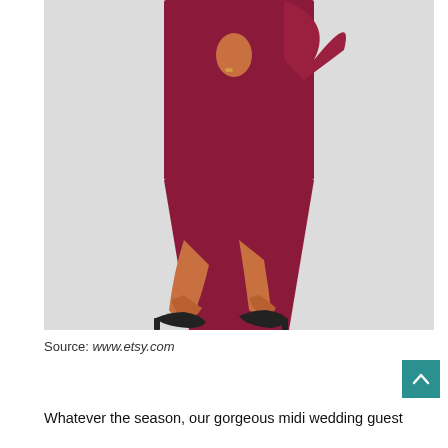[Figure (photo): A woman wearing a dark crimson/burgundy midi dress with a ruffle detail and black pointed-toe heeled pumps, photographed from the waist down against a light grey background.]
Source: www.etsy.com
Whatever the season, our gorgeous midi wedding guest